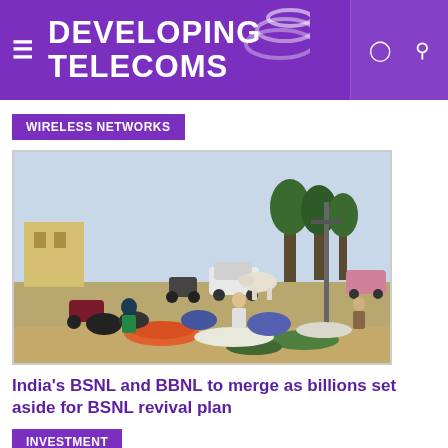DEVELOPING TELECOMS
WIRELESS NETWORKS
[Figure (photo): Street market scene in India with vendors selling vegetables and fruits on the roadside, with motorcycles, cars and pedestrians in the background]
India's BSNL and BBNL to merge as billions set aside for BSNL revival plan
INVESTMENT
[Figure (photo): Partially visible second article image with dark blue background]